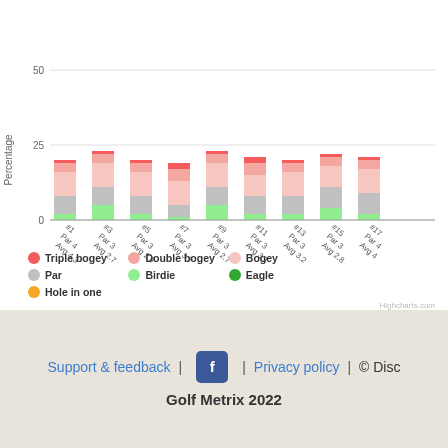[Figure (stacked-bar-chart): ]
Triple bogey  Double bogey  Bogey  Par  Birdie  Eagle  Hole in one
Support & feedback  Privacy policy  © Disc  Golf Metrix 2022